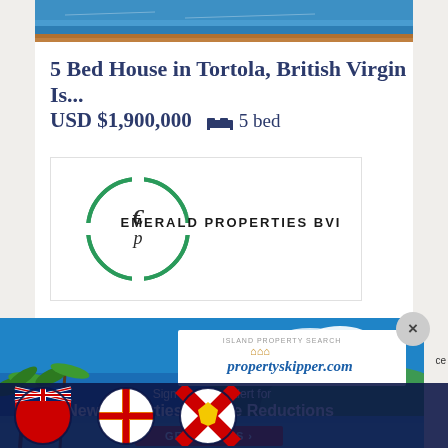[Figure (photo): Top portion of a swimming pool with blue water and wooden deck edge]
5 Bed House in Tortola, British Virgin Is...
USD $1,900,000   🛏 5 bed
[Figure (logo): Emerald Properties BVI logo - circular green logo with stylized 'Ep' letters and company name text]
[Figure (infographic): propertyskipper.com island property search popup advertisement showing tropical island beach scene with Sign up for an alert for New Properties & Price Reductions and GET ALERTS button]
[Figure (photo): Row of country flag circular icons at bottom - Bermuda, Guernsey, and Jersey flags visible]